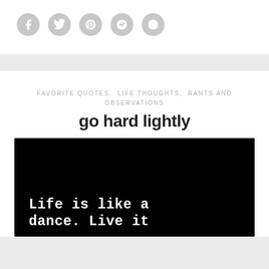[Figure (other): Social media share icons: Facebook, Twitter, Pinterest, Google+, StumbleUpon — grey circular buttons]
FAVORITE QUOTES, LIFE THOUGHTS, RANTS AND OBSERVATIONS
go hard lightly
[Figure (photo): Black background image with white bold monospace text reading: Life is like a dance. Live it]